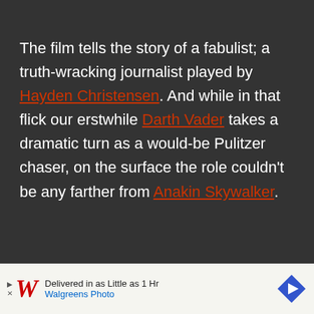The film tells the story of a fabulist; a truth-wracking journalist played by Hayden Christensen. And while in that flick our erstwhile Darth Vader takes a dramatic turn as a would-be Pulitzer chaser, on the surface the role couldn't be any farther from Anakin Skywalker.
[Figure (other): Walgreens Photo advertisement banner: play icon, Walgreens cursive logo, text 'Delivered in as Little as 1 Hr' and 'Walgreens Photo', blue diamond arrow icon on right]